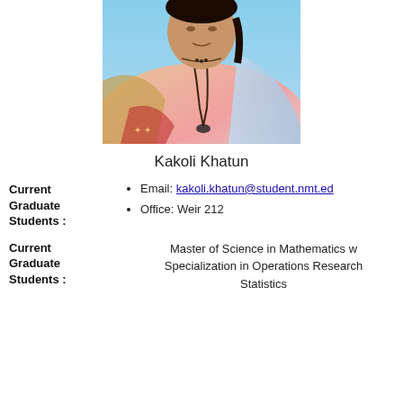[Figure (photo): Profile photo of Kakoli Khatun, a young woman wearing traditional colorful clothing and a lanyard, photographed outdoors with a blue sky background.]
Kakoli Khatun
Current Graduate Students : Email: kakoli.khatun@student.nmt.ed Office: Weir 212
Current Graduate Students : Master of Science in Mathematics with Specialization in Operations Research Statistics